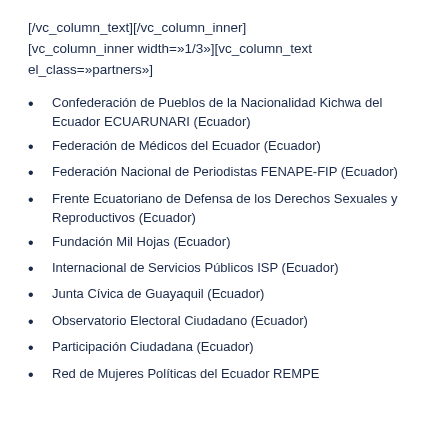[/vc_column_text][/vc_column_inner]
[vc_column_inner width=»1/3»][vc_column_text
el_class=»partners»]
Confederación de Pueblos de la Nacionalidad Kichwa del Ecuador ECUARUNARI (Ecuador)
Federación de Médicos del Ecuador (Ecuador)
Federación Nacional de Periodistas FENAPE-FIP (Ecuador)
Frente Ecuatoriano de Defensa de los Derechos Sexuales y Reproductivos (Ecuador)
Fundación Mil Hojas (Ecuador)
Internacional de Servicios Públicos ISP (Ecuador)
Junta Cívica de Guayaquil (Ecuador)
Observatorio Electoral Ciudadano (Ecuador)
Participación Ciudadana (Ecuador)
Red de Mujeres Políticas del Ecuador REMPE